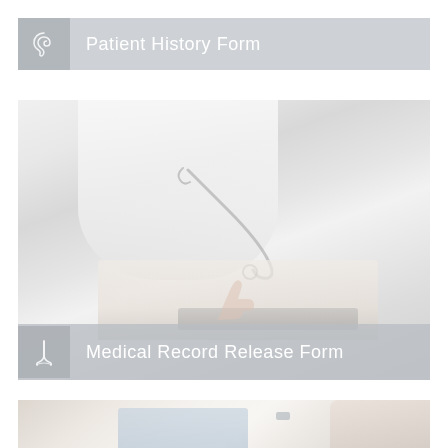Patient History Form
[Figure (photo): Doctor in white coat with stethoscope using a tablet device, viewed from mid-torso down, with another person's hands visible]
Medical Record Release Form
[Figure (photo): Close-up of a clipboard with paper and a pen, with a person's hand visible in the background]